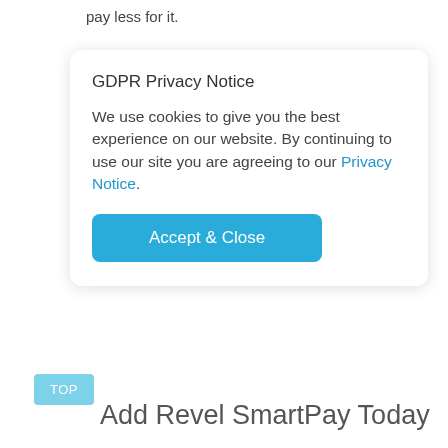pay less for it.
GDPR Privacy Notice
We use cookies to give you the best experience on our website. By continuing to use our site you are agreeing to our Privacy Notice.
Accept & Close
TOP
Add Revel SmartPay Today